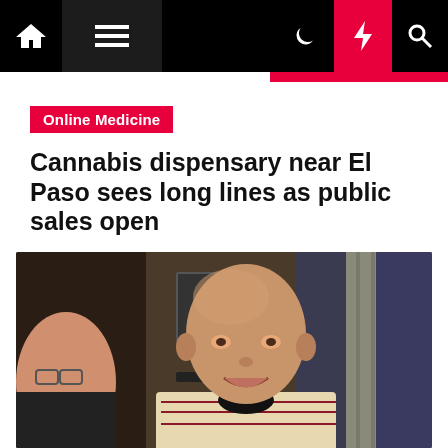Navigation bar with home, menu, moon, bolt, and search icons
Online Medicine
Cannabis dispensary near El Paso sees long lines as public sales open
Lena Weib  5 months ago
[Figure (photo): Photo of an elderly smiling bald man in a cream and dark red patterned jacket, seated indoors with another older man partially visible on the left, and a framed item and blue curtain in the background]